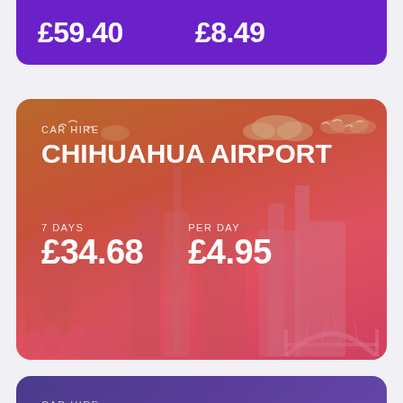[Figure (infographic): Top purple card showing price £59.40 and per-day price £8.49 (partial, top of page)]
[Figure (infographic): Car hire card for Chihuahua Airport with orange-red gradient city skyline background. Shows 7 DAYS £34.68 and PER DAY £4.95.]
CAR HIRE
CHIHUAHUA AIRPORT
7 DAYS £34.68
PER DAY £4.95
[Figure (infographic): Bottom partial purple car hire card for Chihuahua Airport with purple gradient and silhouette city skyline. Contains scroll-up blue button.]
CAR HIRE
CHIHUAHUA AIRPORT